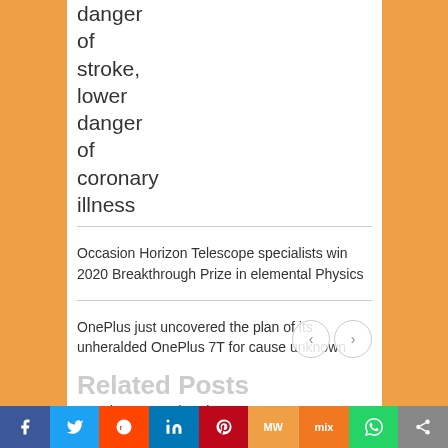danger of stroke, lower danger of coronary illness
Occasion Horizon Telescope specialists win 2020 Breakthrough Prize in elemental Physics
OnePlus just uncovered the plan of its unheralded OnePlus 7T for cause unknown
Related Posts
Annals remote charging rates to
f  Twitter  Reddit  in  P  MW  mix  WhatsApp  share